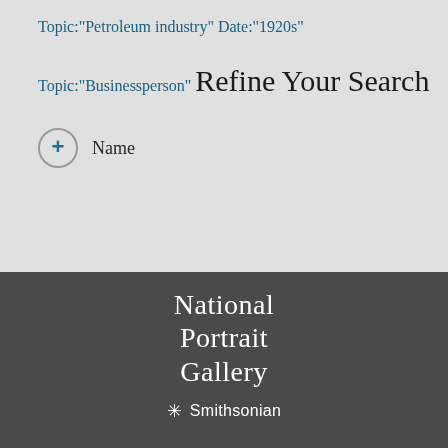Topic:"Petroleum industry"
Date:"1920s"
Topic:"Businessperson"
Refine Your Search
+ Name
[Figure (logo): National Portrait Gallery Smithsonian logo in white text on dark grey background]